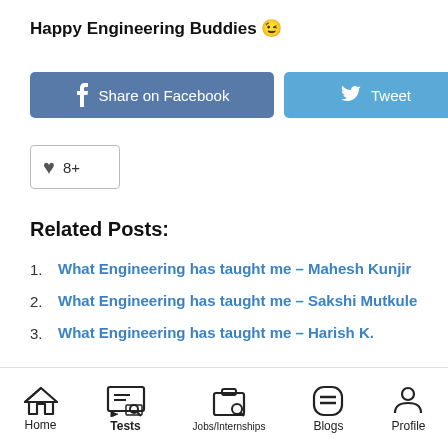Happy Engineering Buddies 😉
[Figure (other): Share on Facebook button (blue) and Tweet button (light blue) side by side]
[Figure (other): Like/heart button with count 8+]
Related Posts:
What Engineering has taught me – Mahesh Kunjir
What Engineering has taught me – Sakshi Mutkule
What Engineering has taught me – Harish K.
Home | Tests | Jobs/Internships | Blogs | Profile